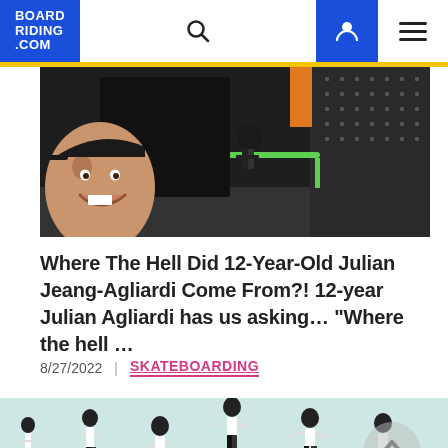BOARD RIDING .COM
[Figure (photo): Skate park scene with a smiling young skater on the left and a skater grinding a rail in the background]
Where The Hell Did 12-Year-Old Julian Jeang-Agliardi Come From?! 12-year Julian Agliardi has us asking... "Where the hell ..."
8/27/2022  |  SKATEBOARDING
[Figure (photo): Sequence of a young skateboarder performing a trick, shown in multiple positions from left to right against a light blue background, with a back-to-top chevron button on the right]